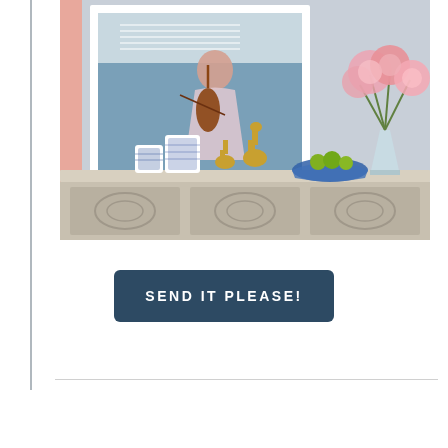[Figure (photo): Interior design photo showing a decorative console table with a framed painting of a young girl playing violin, gold giraffe figurines, blue and white ceramic jars, a blue bowl with green limes, and a glass vase with pink peonies/hydrangeas against a light blue-gray wall.]
SEND IT PLEASE!